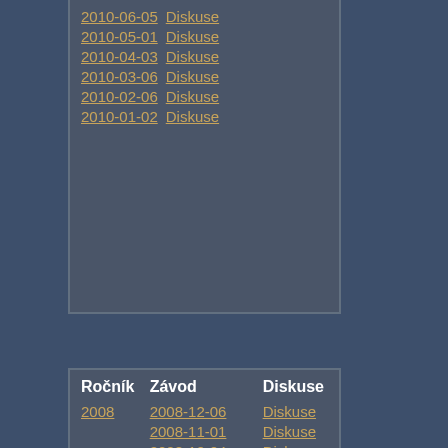| Ročník | Závod | Diskuse |
| --- | --- | --- |
|  | 2010-06-05 | Diskuse |
|  | 2010-05-01 | Diskuse |
|  | 2010-04-03 | Diskuse |
|  | 2010-03-06 | Diskuse |
|  | 2010-02-06 | Diskuse |
|  | 2010-01-02 | Diskuse |
| Ročník | Závod |
| --- | --- |
|  | 2009-... |
|  | 2009-... |
|  | 2009-... |
|  | 2009-... |
|  | 2009-... |
| Ročník | Závod | Diskuse |
| --- | --- | --- |
| 2008 | 2008-12-06 | Diskuse |
|  | 2008-11-01 | Diskuse |
|  | 2008-10-04 | Diskuse |
|  | 2008-09-06 | Diskuse |
|  | 2008-08-02 | Diskuse |
|  | 2008-07-05 | Diskuse |
|  | 2008-06-07 |  |
|  | 2008-05-03 | Diskuse |
|  | 2008-04-05 | Diskuse |
|  | 2008-03-01 | Diskuse |
|  | 2008-02-02 | Diskuse |
|  | 2008-01-05 | Diskuse |
| Ročník | Závod |
| --- | --- |
| 2007 | 2007-... |
|  | 2007-... |
|  | 2007-... |
|  | 2007-... |
|  | 2007-... |
|  | 2007-... |
|  | 2007-... |
|  | 2007-... |
|  | 2007-... |
|  | 2007-... |
|  | 2007-... |